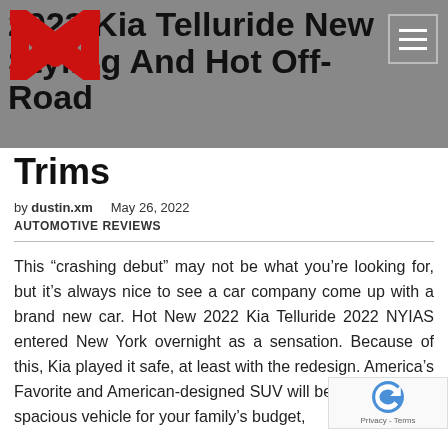2023 Kia Telluride New Styling And Hot Off-Road Trims
Trims
by dustin.xm   May 26, 2022
AUTOMOTIVE REVIEWS
This “crashing debut” may not be what you’re looking for, but it’s always nice to see a car company come up with a brand new car. Hot New 2022 Kia Telluride 2022 NYIAS entered New York overnight as a sensation. Because of this, Kia played it safe, at least with the redesign. America’s Favorite and American-designed SUV will be a comfortable spacious vehicle for your family’s budget,